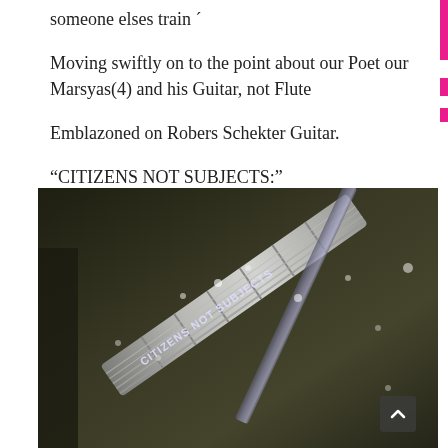someone elses train ´
Moving swiftly on to the point about our Poet our Marsyas(4) and his Guitar, not Flute
Emblazoned on Robers Schekter Guitar.
“CITIZENS NOT SUBJECTS:”
[Figure (photo): Close-up photograph of a guitar neck/body showing the text 'CITIZENS NOT SUBJECTS' emblazoned on it, dark background, concert setting.]